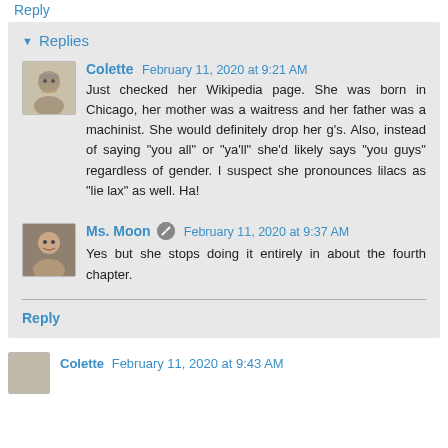Reply
▼ Replies
Colette February 11, 2020 at 9:21 AM
Just checked her Wikipedia page. She was born in Chicago, her mother was a waitress and her father was a machinist. She would definitely drop her g's. Also, instead of saying "you all" or "ya'll" she'd likely says "you guys" regardless of gender. I suspect she pronounces lilacs as "lie lax" as well. Ha!
Ms. Moon February 11, 2020 at 9:37 AM
Yes but she stops doing it entirely in about the fourth chapter.
Reply
Colette February 11, 2020 at 9:43 AM